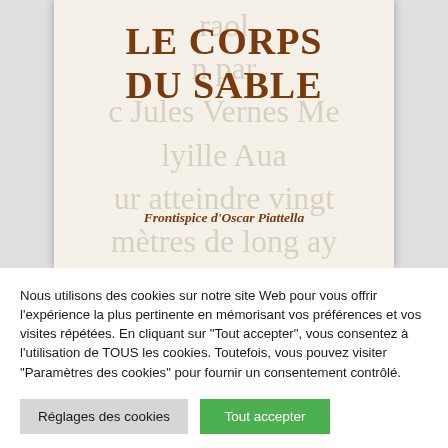[Figure (illustration): Book cover of 'Le Corps du Sable' with frontispiece by Oscar Piattella. The cover features a cream/off-white background with large watermark-style text in light gray (excerpt from the book text), overlaid with the bold brown title 'LE CORPS DU SABLE' and the credit line 'Frontispice d'Oscar Piattella'.]
Nous utilisons des cookies sur notre site Web pour vous offrir l'expérience la plus pertinente en mémorisant vos préférences et vos visites répétées. En cliquant sur "Tout accepter", vous consentez à l'utilisation de TOUS les cookies. Toutefois, vous pouvez visiter "Paramètres des cookies" pour fournir un consentement contrôlé.
Réglages des cookies
Tout accepter